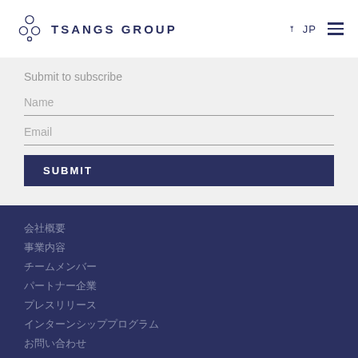TSANGS GROUP  JP
Submit to subscribe
Name
Email
SUBMIT
会社概要
事業内容
チームメンバー
パートナー企業
プレスリリース
インターンシッププログラム
お問い合わせ